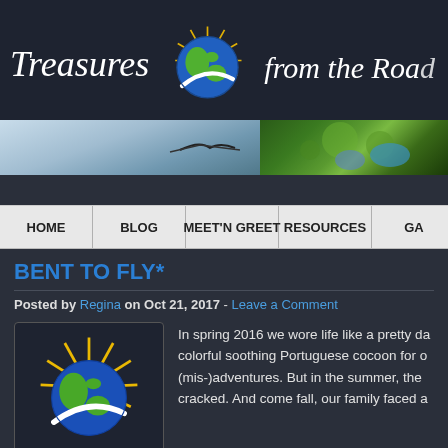[Figure (illustration): Website header with 'Treasures' in cursive white italic, a globe logo with light rays and road, and 'from the Road' in cursive white italic on dark navy background]
[Figure (photo): Banner strip with two photos side by side: left shows sky/bird, right shows green foliage/flowers]
HOME | BLOG | MEET'N GREET | RESOURCES | GA
BENT TO FLY*
Posted by Regina on Oct 21, 2017 - Leave a Comment
[Figure (logo): Globe logo with light rays and curved road/path]
In spring 2016 we wore life like a pretty da... colorful soothing Portuguese cocoon for o... (mis-)adventures. But in the summer, the ... cracked. And come fall, our family faced a...